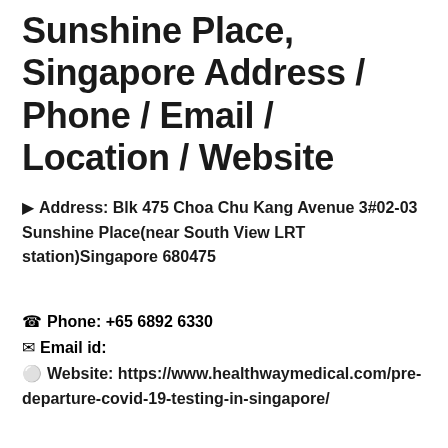Sunshine Place, Singapore Address / Phone / Email / Location / Website
📍 Address: Blk 475 Choa Chu Kang Avenue 3#02-03 Sunshine Place(near South View LRT station)Singapore 680475
📞 Phone: +65 6892 6330
✉ Email id:
🌐 Website: https://www.healthwaymedical.com/pre-departure-covid-19-testing-in-singapore/